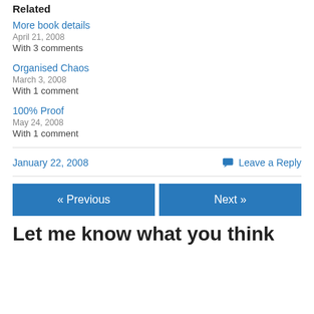Related
More book details
April 21, 2008
With 3 comments
Organised Chaos
March 3, 2008
With 1 comment
100% Proof
May 24, 2008
With 1 comment
January 22, 2008
Leave a Reply
« Previous
Next »
Let me know what you think